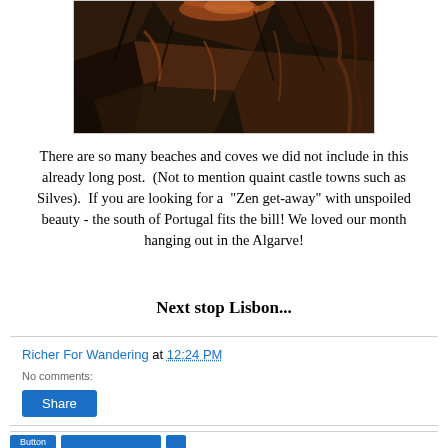[Figure (photo): Close-up photograph of dark reddish-brown rocky cliff face with textured stone surface, warm orange and brown tones]
There are so many beaches and coves we did not include in this already long post. (Not to mention quaint castle towns such as Silves). If you are looking for a "Zen get-away" with unspoiled beauty - the south of Portugal fits the bill! We loved our month hanging out in the Algarve!
Next stop Lisbon...
Richer For Wandering at 12:24 PM
Share